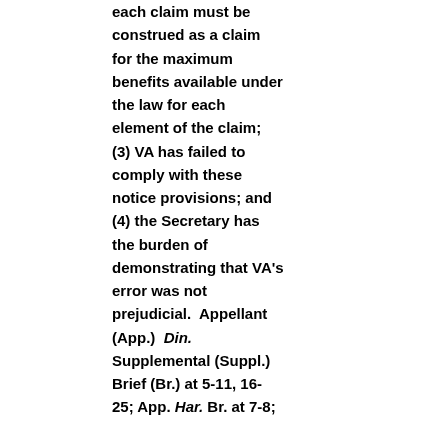each claim must be construed as a claim for the maximum benefits available under the law for each element of the claim; (3) VA has failed to comply with these notice provisions; and (4) the Secretary has the burden of demonstrating that VA's error was not prejudicial.  Appellant (App.)  Din. Supplemental (Suppl.) Brief (Br.) at 5-11, 16-25; App. Har. Br. at 7-8;